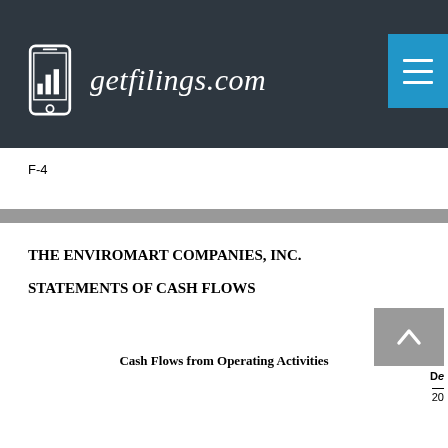[Figure (logo): getfilings.com logo with mobile phone icon showing bar chart, white text on dark background]
F-4
THE ENVIROMART COMPANIES, INC.
STATEMENTS OF CASH FLOWS
Cash Flows from Operating Activities